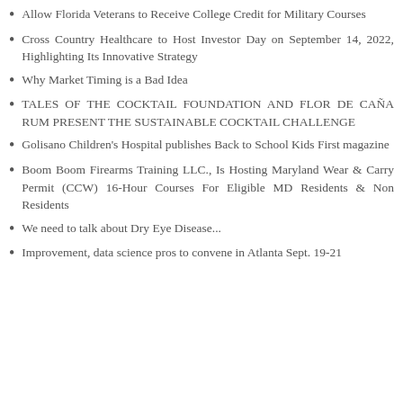Allow Florida Veterans to Receive College Credit for Military Courses
Cross Country Healthcare to Host Investor Day on September 14, 2022, Highlighting Its Innovative Strategy
Why Market Timing is a Bad Idea
TALES OF THE COCKTAIL FOUNDATION AND FLOR DE CAÑA RUM PRESENT THE SUSTAINABLE COCKTAIL CHALLENGE
Golisano Children's Hospital publishes Back to School Kids First magazine
Boom Boom Firearms Training LLC., Is Hosting Maryland Wear & Carry Permit (CCW) 16-Hour Courses For Eligible MD Residents & Non Residents
We need to talk about Dry Eye Disease...
Improvement, data science pros to convene in Atlanta Sept. 19-21